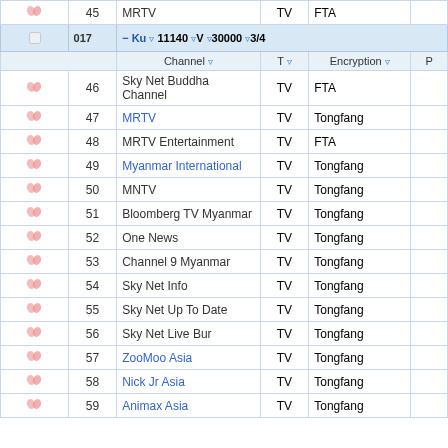|  |  | Channel | T | Encryption | P |
| --- | --- | --- | --- | --- | --- |
| icons | 45 | MRTV | TV | FTA |  |
| sat-header | 017 | Ku 11140 V 30000 3/4 |  |  |  |
| icons | 46 | Sky Net Buddha Channel | TV | FTA |  |
| icons | 47 | MRTV | TV | Tongfang |  |
| icons | 48 | MRTV Entertainment | TV | FTA |  |
| icons | 49 | Myanmar International | TV | Tongfang |  |
| icons | 50 | MNTV | TV | Tongfang |  |
| icons | 51 | Bloomberg TV Myanmar | TV | Tongfang |  |
| icons | 52 | One News | TV | Tongfang |  |
| icons | 53 | Channel 9 Myanmar | TV | Tongfang |  |
| icons | 54 | Sky Net Info | TV | Tongfang |  |
| icons | 55 | Sky Net Up To Date | TV | Tongfang |  |
| icons | 56 | Sky Net Live Bur | TV | Tongfang |  |
| icons | 57 | ZooMoo Asia | TV | Tongfang |  |
| icons | 58 | Nick Jr Asia | TV | Tongfang |  |
| icons | 59 | Animax Asia | TV | Tongfang |  |